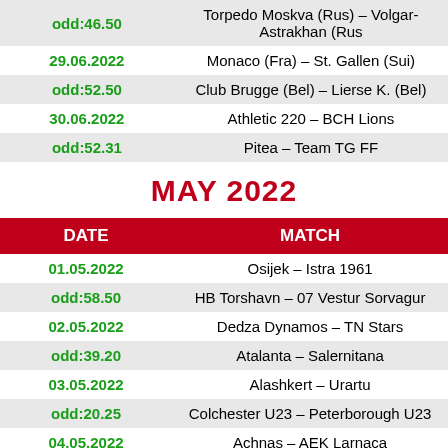| DATE | MATCH |
| --- | --- |
| odd:46.50 | Torpedo Moskva (Rus) – Volgar-Astrakhan (Rus) |
| 29.06.2022 | Monaco (Fra) – St. Gallen (Sui) |
| odd:52.50 | Club Brugge (Bel) – Lierse K. (Bel) |
| 30.06.2022 | Athletic 220 – BCH Lions |
| odd:52.31 | Pitea – Team TG FF |
MAY 2022
| DATE | MATCH |
| --- | --- |
| 01.05.2022 | Osijek – Istra 1961 |
| odd:58.50 | HB Torshavn – 07 Vestur Sorvagur |
| 02.05.2022 | Dedza Dynamos – TN Stars |
| odd:39.20 | Atalanta – Salernitana |
| 03.05.2022 | Alashkert – Urartu |
| odd:20.25 | Colchester U23 – Peterborough U23 |
| 04.05.2022 | Achnas – AEK Larnaca |
| odd:42.56 | Suphanburi – Buriram |
| 05.05.2022 | Marseille – Feyenoord |
| odd:24.00 | Djurgarden – Helsingborg |
| 06.05.2022 | Amstetten – FC Juniors |
| odd:38.81 | Benevento – SPAL |